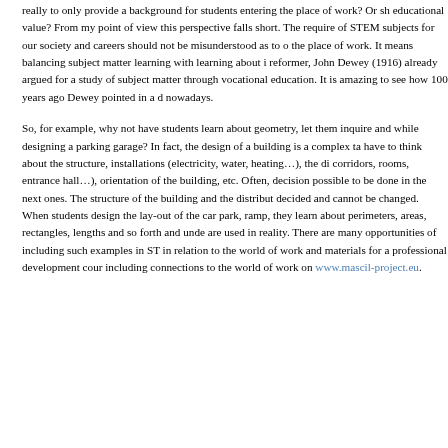really to only provide a background for students entering the place of work? Or should it have more educational value? From my point of view this perspective falls short. The requirements of STEM subjects for our society and careers should not be misunderstood as to only prepare for the place of work. It means balancing subject matter learning with learning about its use. Educational reformer, John Dewey (1916) already argued for a study of subject matter through the lens of vocational education. It is amazing to see how 100 years ago Dewey pointed in a direction relevant nowadays.
So, for example, why not have students learn about geometry, let them inquire and discover while designing a parking garage? In fact, the design of a building is a complex task. Students have to think about the structure, installations (electricity, water, heating…), the distribution of corridors, rooms, entrance hall…), orientation of the building, etc. Often, decisions limit what is possible to be done in the next ones. The structure of the building and the distribution of rooms is decided and cannot be changed. When students design the lay-out of the car park, including the ramp, they learn about perimeters, areas, rectangles, lengths and so forth and understand how these are used in reality. There are many opportunities of including such examples in STEM education in relation to the world of work and materials for a professional development course, including connections to the world of work on www.mascil-project.eu.